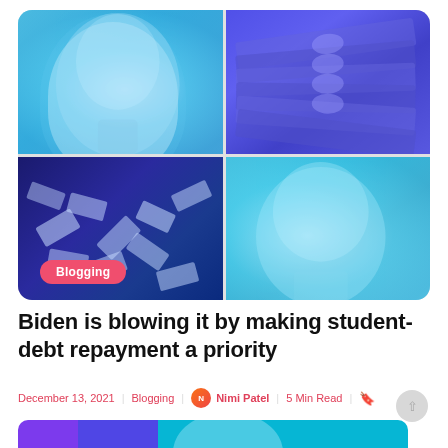[Figure (photo): Four-panel image collage with cyan/blue color overlays: top-left shows an older man's face (Biden), top-right shows stacked dollar bills, bottom-left shows flying paper money, bottom-right shows another man's face (Trump). A pink 'Blogging' badge appears at the bottom of the collage.]
Biden is blowing it by making student-debt repayment a priority
December 13, 2021 | Blogging | Nimi Patel | 5 Min Read |
[Figure (photo): Partial view of a second article's thumbnail image at the bottom, showing purple, blue and cyan gradient colors with partial circular graphic.]